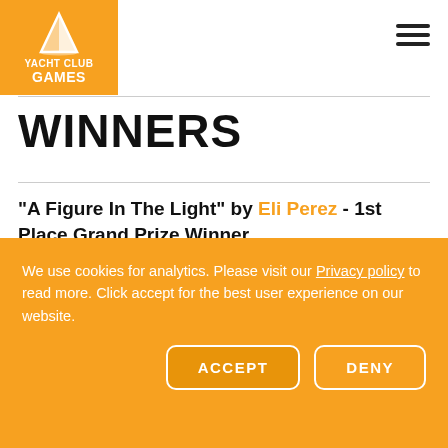Yacht Club Games
o, let's announce our winners!
WINNERS
"A Figure In The Light" by Eli Perez - 1st Place Grand Prize Winner
[Figure (photo): Partial view of an image, appears to be a warm-toned photograph with brown and golden hues]
We use cookies for analytics. Please visit our Privacy policy to read more. Click accept for the best user experience on our website.